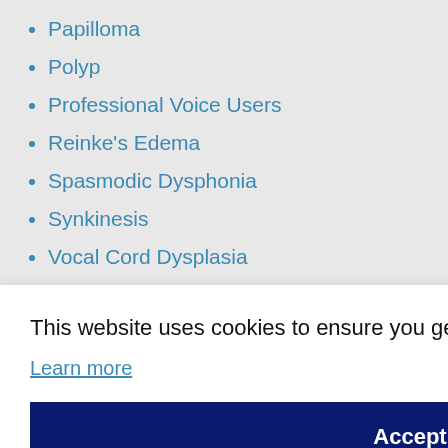Papilloma
Polyp
Professional Voice Users
Reinke's Edema
Spasmodic Dysphonia
Synkinesis
Vocal Cord Dysplasia
Vocal Fold Cyst
Vocal Fold Paralysis
This website uses cookies to ensure you get the best experience on our website.
Learn more
Accept